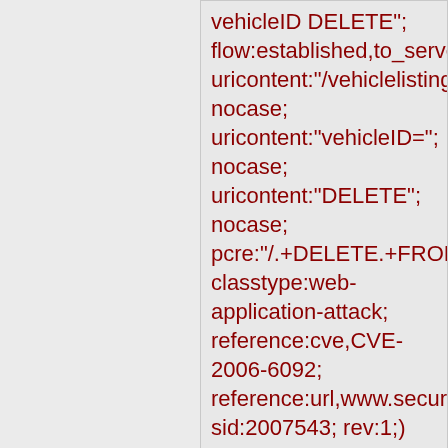vehicleID DELETE"; flow:established,to_server; uricontent:"/vehiclelistings; nocase; uricontent:"vehicleID="; nocase; uricontent:"DELETE"; nocase; pcre:"/.+DELETE.+FROM classtype:web-application-attack; reference:cve,CVE-2006-6092; reference:url,www.securit sid:2007543; rev:1;)
Added 2007-08-29 03:48:17 UTC
alert tcp